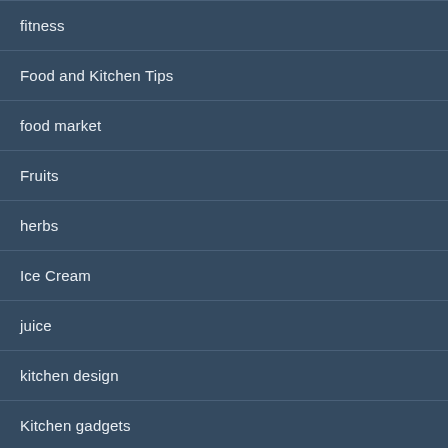fitness
Food and Kitchen Tips
food market
Fruits
herbs
Ice Cream
juice
kitchen design
Kitchen gadgets